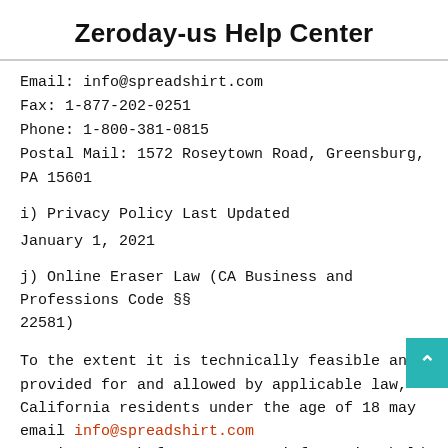Zeroday-us Help Center
Email: info@spreadshirt.com
Fax: 1-877-202-0251
Phone: 1-800-381-0815
Postal Mail: 1572 Roseytown Road, Greensburg, PA 15601
i) Privacy Policy Last Updated
January 1, 2021
j) Online Eraser Law (CA Business and Professions Code §§ 22581)
To the extent it is technically feasible and provided for and allowed by applicable law, California residents under the age of 18 may email info@spreadshirt.com anytime to ask for access to information held about you in or to have it corrected, disabled, or deleted, when possible. Note that removal or deletion of your information does not ensure complete or comprehensive removal of the content or